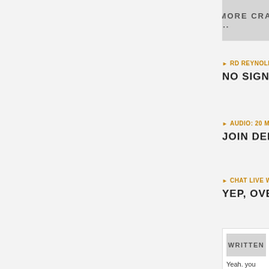MORE CRA...
RD REYNOLDS O...
NO SIGN OF C...
AUDIO: 20 MINUT...
JOIN DERIK JO...
CHAT LIVE WITH...
YEP, OVER ON...
WRITTEN
Yeah. you kno... Facebook. (I'm... and Keep on C...